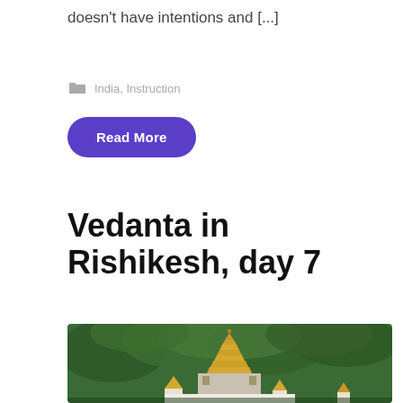doesn't have intentions and [...]
India, Instruction
Read More
Vedanta in Rishikesh, day 7
[Figure (photo): Hindu temple with golden multi-tiered spire and smaller spires in the foreground, surrounded by dense green forested hills in the background]